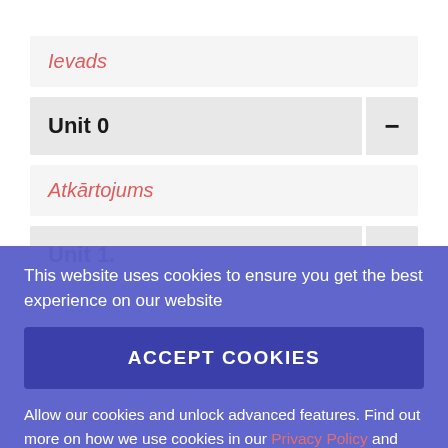Ievads
Unit 0
Atkārtojums
Unit 1.1
This website uses cookies to ensure you get the best experience on our website
ACCEPT COOKIES
Allow our cookies and unlock advanced features. Find out more on how we use cookies in our Privacy Policy and Cookies Policy .